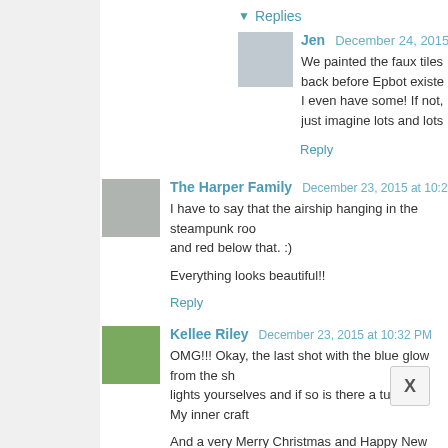▼ Replies
Jen  December 24, 2015 at 6:51 PM
We painted the faux tiles back before Epbot existe... I even have some! If not, just imagine lots and lots
Reply
The Harper Family  December 23, 2015 at 10:22 PM
I have to say that the airship hanging in the steampunk roo... and red below that. :)

Everything looks beautiful!!
Reply
Kellee Riley  December 23, 2015 at 10:32 PM
OMG!!! Okay, the last shot with the blue glow from the sh... lights yourselves and if so is there a tutorial?! My inner craft...

And a very Merry Christmas and Happy New Year to y